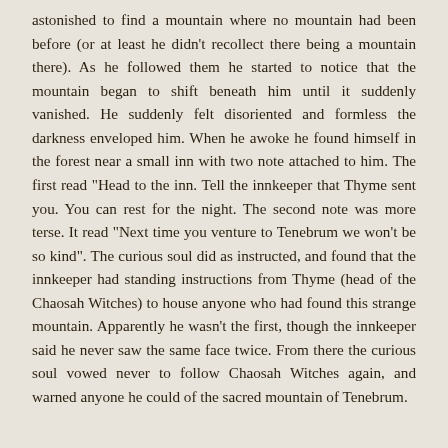astonished to find a mountain where no mountain had been before (or at least he didn't recollect there being a mountain there). As he followed them he started to notice that the mountain began to shift beneath him until it suddenly vanished. He suddenly felt disoriented and formless the darkness enveloped him. When he awoke he found himself in the forest near a small inn with two note attached to him. The first read "Head to the inn. Tell the innkeeper that Thyme sent you. You can rest for the night. The second note was more terse. It read "Next time you venture to Tenebrum we won't be so kind". The curious soul did as instructed, and found that the innkeeper had standing instructions from Thyme (head of the Chaosah Witches) to house anyone who had found this strange mountain. Apparently he wasn't the first, though the innkeeper said he never saw the same face twice. From there the curious soul vowed never to follow Chaosah Witches again, and warned anyone he could of the sacred mountain of Tenebrum.